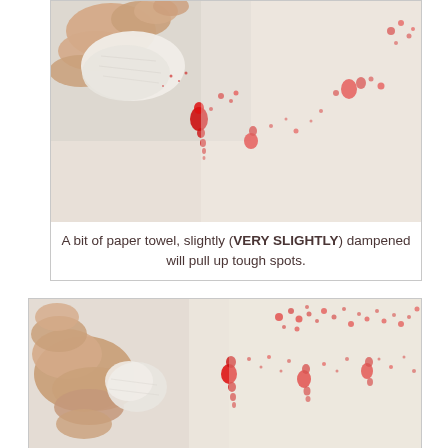[Figure (photo): A hand holding a piece of paper towel, dabbing at red paint/ink splatter spots on a white surface. The paper towel is slightly dampened and being used to clean the spots.]
A bit of paper towel, slightly (VERY SLIGHTLY) dampened will pull up tough spots.
[Figure (photo): Another photo of a hand holding a rolled paper towel, cleaning red paint/ink splatter spots on a white surface. More splatter visible across the surface.]